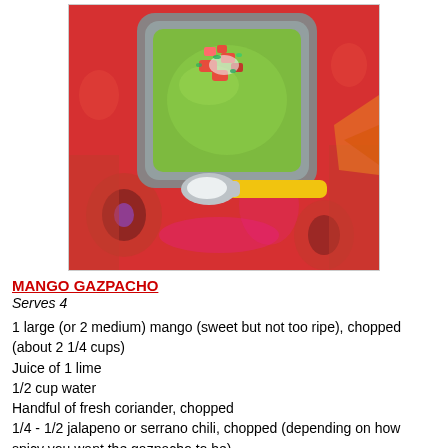[Figure (photo): Top-down photo of a bowl of green mango gazpacho soup topped with chopped red peppers and herbs, served on a colorful red patterned fabric with a spoon with a yellow handle beside the bowl.]
MANGO GAZPACHO
Serves 4
1 large (or 2 medium) mango (sweet but not too ripe), chopped (about 2 1/4 cups)
Juice of 1 lime
1/2 cup water
Handful of fresh coriander, chopped
1/4 - 1/2 jalapeno or serrano chili, chopped (depending on how spicy you want the gazpacho to be)